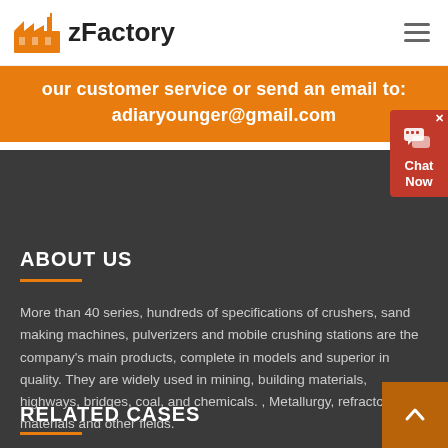zFactory
our customer service or send an email to: adiaryounger@gmail.com
ABOUT US
More than 40 series, hundreds of specifications of crushers, sand making machines, pulverizers and mobile crushing stations are the company’s main products, complete in models and superior in quality. They are widely used in mining, building materials, highways, bridges, coal, and chemicals. , Metallurgy, refractory materials and other fields.
RELATED CASES